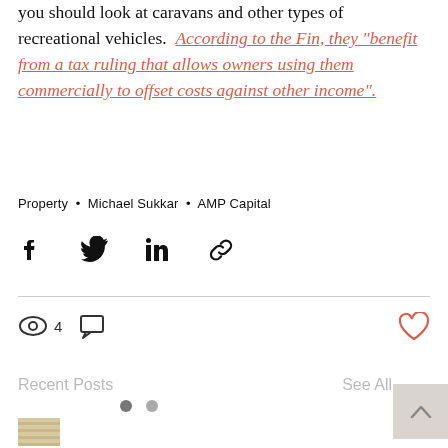you should look at caravans and other types of recreational vehicles. According to the Fin, they "benefit from a tax ruling that allows owners using them commercially to offset costs against other income".
Property • Michael Sukkar • AMP Capital
[Figure (other): Social share icons: Facebook, Twitter, LinkedIn, and link/chain icon]
[Figure (other): Views count icon with number 4, comment icon, and heart/like icon]
Recent Posts
See All
[Figure (other): Two navigation dots for carousel]
[Figure (photo): Thumbnail image of a document or newspaper clipping with striped/textured appearance]
[Figure (other): Back to top arrow button in gray]